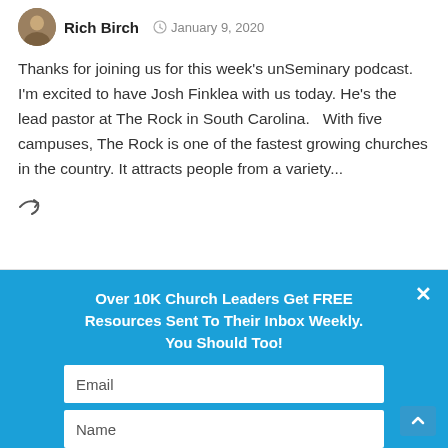Rich Birch · January 9, 2020
Thanks for joining us for this week's unSeminary podcast. I'm excited to have Josh Finklea with us today. He's the lead pastor at The Rock in South Carolina.   With five campuses, The Rock is one of the fastest growing churches in the country. It attracts people from a variety...
Over 10K Church Leaders Get FREE Resources Sent To Their Inbox Weekly. You Should Too!